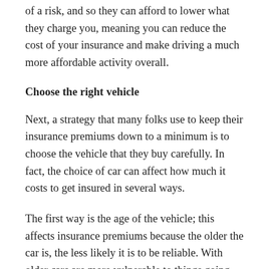of a risk, and so they can afford to lower what they charge you, meaning you can reduce the cost of your insurance and make driving a much more affordable activity overall.
Choose the right vehicle
Next, a strategy that many folks use to keep their insurance premiums down to a minimum is to choose the vehicle that they buy carefully. In fact, the choice of car can affect how much it costs to get insured in several ways.
The first way is the age of the vehicle; this affects insurance premiums because the older the car is, the less likely it is to be reliable. With older cars are more vulnerable to things going wrong, this is something that can easily lead to an accident.